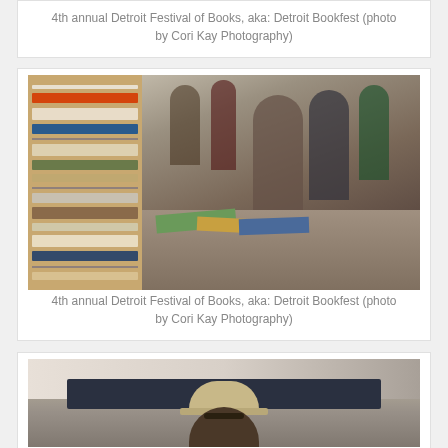4th annual Detroit Festival of Books, aka: Detroit Bookfest (photo by Cori Kay Photography)
[Figure (photo): Indoor book festival scene showing shelves of books on the left and a crowd of people browsing books on tables on the right, with an older woman with white hair prominently visible.]
4th annual Detroit Festival of Books, aka: Detroit Bookfest (photo by Cori Kay Photography)
[Figure (photo): Partial photo of a man wearing a wide-brimmed hat and glasses, standing outdoors near a building.]